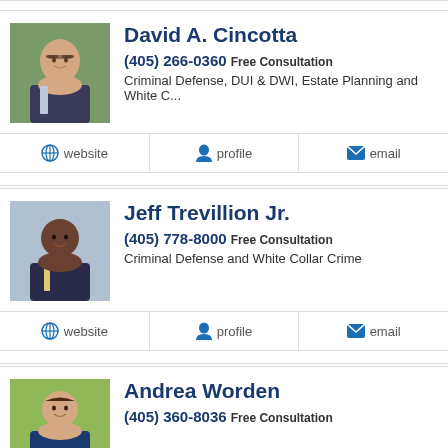David A. Cincotta
(405) 266-0360 Free Consultation
Criminal Defense, DUI & DWI, Estate Planning and White C...
website | profile | email
Jeff Trevillion Jr.
(405) 778-8000 Free Consultation
Criminal Defense and White Collar Crime
website | profile | email
Andrea Worden
(405) 360-8036 Free Consultation